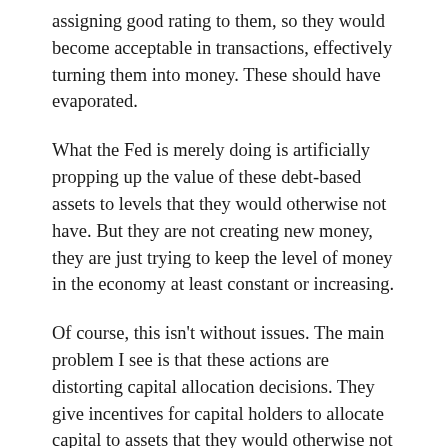assigning good rating to them, so they would become acceptable in transactions, effectively turning them into money. These should have evaporated.
What the Fed is merely doing is artificially propping up the value of these debt-based assets to levels that they would otherwise not have. But they are not creating new money, they are just trying to keep the level of money in the economy at least constant or increasing.
Of course, this isn't without issues. The main problem I see is that these actions are distorting capital allocation decisions. They give incentives for capital holders to allocate capital to assets that they would otherwise not invest in.
Real money should only be created when wealth